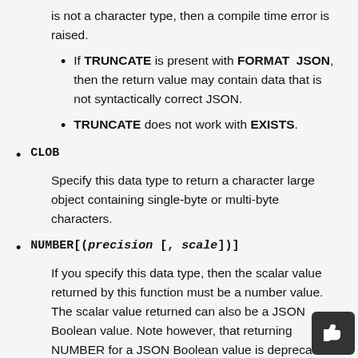is not a character type, then a compile time error is raised.
If TRUNCATE is present with FORMAT JSON, then the return value may contain data that is not syntactically correct JSON.
TRUNCATE does not work with EXISTS.
CLOB
Specify this data type to return a character large object containing single-byte or multi-byte characters.
NUMBER[(precision [, scale])]
If you specify this data type, then the scalar value returned by this function must be a number value. The scalar value returned can also be a JSON Boolean value. Note however, that returning NUMBER for a JSON Boolean value is deprecated